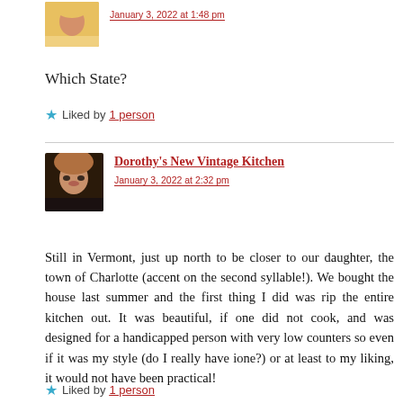[Figure (photo): Avatar photo of a person in yellow top]
January 3, 2022 at 1:48 pm
Which State?
Liked by 1 person
[Figure (photo): Avatar photo of Dorothy with glasses and dark top]
Dorothy's New Vintage Kitchen
January 3, 2022 at 2:32 pm
Still in Vermont, just up north to be closer to our daughter, the town of Charlotte (accent on the second syllable!). We bought the house last summer and the first thing I did was rip the entire kitchen out. It was beautiful, if one did not cook, and was designed for a handicapped person with very low counters so even if it was my style (do I really have ione?) or at least to my liking, it would not have been practical!
Liked by 1 person